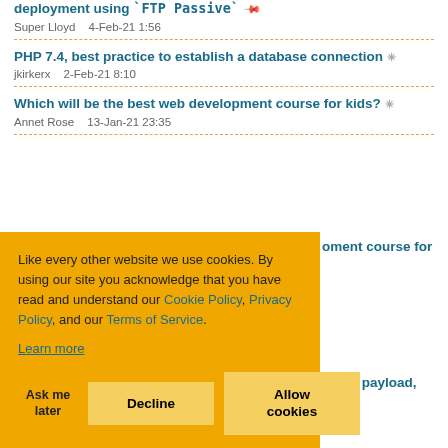deployment using `FTP Passive` Super Lloyd  4-Feb-21 1:56
PHP 7.4, best practice to establish a database connection  jkirkerx  2-Feb-21 8:10
Which will be the best web development course for kids?  Annet Rose  13-Jan-21 23:35
Like every other website we use cookies. By using our site you acknowledge that you have read and understand our Cookie Policy, Privacy Policy, and our Terms of Service. Learn more
Ask me later  Decline  Allow cookies